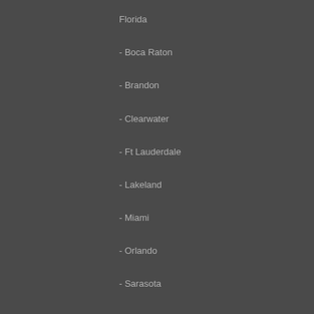Florida
- Boca Raton
- Brandon
- Clearwater
- Ft Lauderdale
- Lakeland
- Miami
- Orlando
- Sarasota
- St Petersburg
- Tampa
- West Palm Beach
DOOR REPAIR SERVICE AREAS
Georgia
- Atlanta Georgia
- Stone Mountain